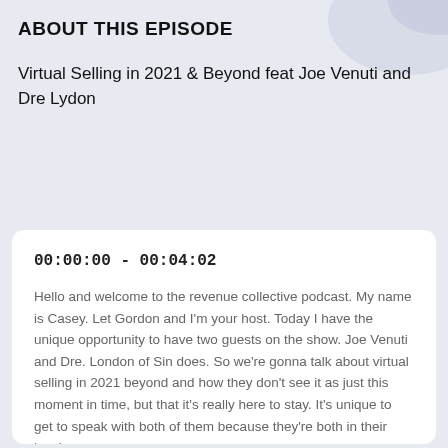ABOUT THIS EPISODE
Virtual Selling in 2021 & Beyond feat Joe Venuti and Dre Lydon
00:00:00 - 00:04:02
Hello and welcome to the revenue collective podcast. My name is Casey. Let Gordon and I'm your host. Today I have the unique opportunity to have two guests on the show. Joe Venuti and Dre. London of Sin does. So we're gonna talk about virtual selling in 2021 beyond and how they don't see it as just this moment in time, but that it's really here to stay. It's unique to get to speak with both of them because they're both in their local...